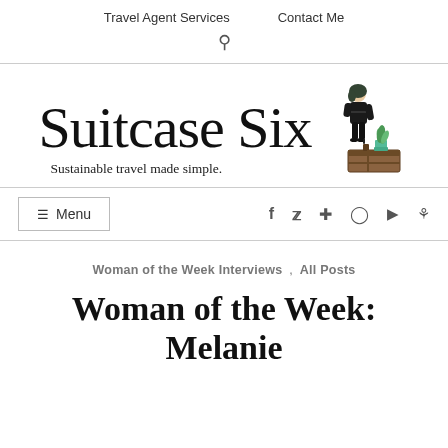Travel Agent Services   Contact Me
[Figure (logo): Suitcase Six logo with cursive script text and illustration of a woman in a black dress next to a suitcase with a plant]
Sustainable travel made simple.
≡ Menu
f  t  ⊕  ⊙  ▶  ⌂
Woman of the Week Interviews , All Posts
Woman of the Week: Melanie